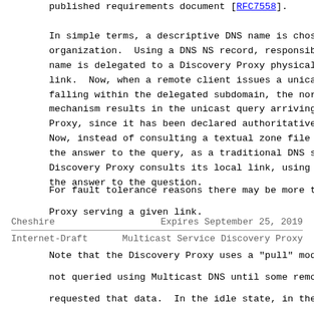published requirements document [RFC7558].
In simple terms, a descriptive DNS name is chosen for e organization. Using a DNS NS record, responsibility fo name is delegated to a Discovery Proxy physically attac link. Now, when a remote client issues a unicast query falling within the delegated subdomain, the normal DNS mechanism results in the unicast query arriving at the Proxy, since it has been declared authoritative for tho Now, instead of consulting a textual zone file on disk the answer to the query, as a traditional DNS server wo Discovery Proxy consults its local link, using Multicas the answer to the question.
Cheshire                    Expires September 25, 2019
Internet-Draft      Multicast Service Discovery Proxy
For fault tolerance reasons there may be more than one Proxy serving a given link.
Note that the Discovery Proxy uses a "pull" model. The not queried using Multicast DNS until some remote clien requested that data. In the idle state, in the absence